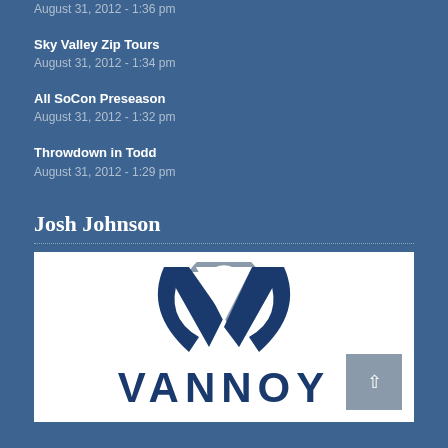August 31, 2012 - 1:36 pm
Sky Valley Zip Tours
August 31, 2012 - 1:34 pm
All SoCon Preseason
August 31, 2012 - 1:32 pm
Throwdown in Todd
August 31, 2012 - 1:29 pm
Josh Johnson
[Figure (logo): Vannoy company logo with a blue and grey V symbol above the text VANNOY in dark blue block letters on a white background]